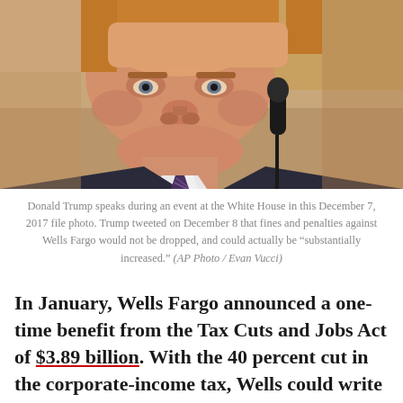[Figure (photo): Close-up photo of Donald Trump speaking at a microphone during an event at the White House, December 7, 2017. He is wearing a dark suit and striped tie.]
Donald Trump speaks during an event at the White House in this December 7, 2017 file photo. Trump tweeted on December 8 that fines and penalties against Wells Fargo would not be dropped, and could actually be "substantially increased." (AP Photo / Evan Vucci)
In January, Wells Fargo announced a one-time benefit from the Tax Cuts and Jobs Act of $3.89 billion. With the 40 percent cut in the corporate-income tax, Wells could write down